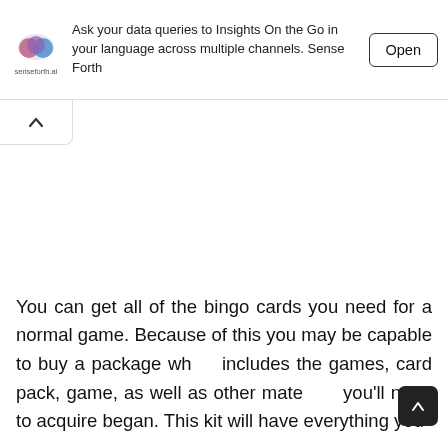[Figure (screenshot): App store advertisement banner for Senseforth.ai showing logo, description text 'Ask your data queries to Insights On the Go in your language across multiple channels. Sense Forth', and an 'Open' button]
You can get all of the bingo cards you need for a normal game. Because of this you may be capable to buy a package which includes the games, card pack, game, as well as other materials you'll need to acquire began. This kit will have everything you